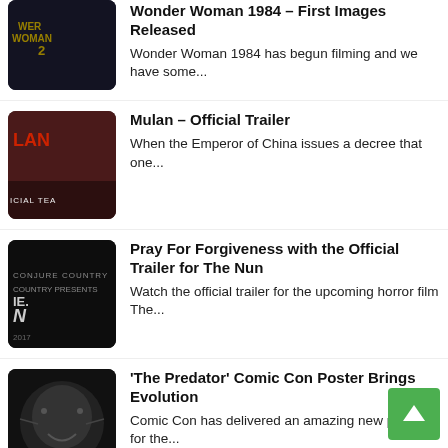Wonder Woman 1984 – First Images Released
Wonder Woman 1984 has begun filming and we have some...
Mulan – Official Trailer
When the Emperor of China issues a decree that one...
Pray For Forgiveness with the Official Trailer for The Nun
Watch the official trailer for the upcoming horror film The...
'The Predator' Comic Con Poster Brings Evolution
Comic Con has delivered an amazing new poster for the...
Jamie Foxx Is Todd McFarlane's Spawn
According to Deadline, Oscar winner Jamie